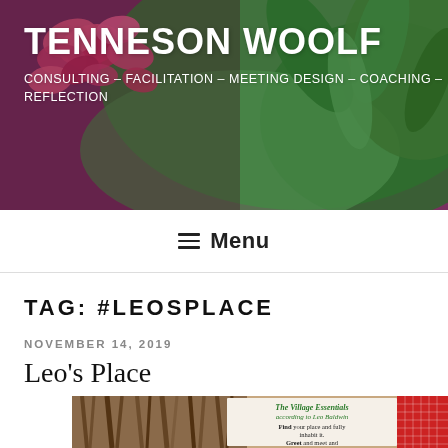TENNESON WOOLF
CONSULTING – FACILITATION – MEETING DESIGN – COACHING – REFLECTION
≡ Menu
TAG: #LEOSPLACE
NOVEMBER 14, 2019
Leo's Place
[Figure (photo): Photo showing a bundle of sticks/twigs on the left, a card labeled 'The Village Essentials according to Leo Baldwin' with text 'Find your place and fully inhabit it. Greet and meet and pause for story. Invite diversity among...' in the center, and red checkered fabric on the right.]